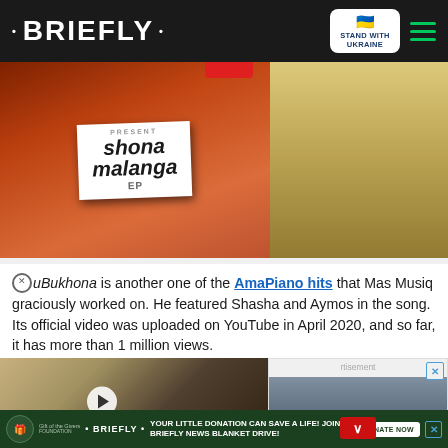• BRIEFLY • [Stand with Ukraine] [hamburger menu]
[Figure (photo): Hero image split in two: left side shows a person holding a sign that reads 'PRESENT Shona Malanga EP' on orange/red background; right side shows a person in yellow/cream jacket]
uBukhona is another one of the AmaPiano hits that Mas Musiq graciously worked on. He featured Shasha and Aymos in the song. Its official video was uploaded on YouTube in April 2020, and so far, it has more than 1 million views.
[Figure (screenshot): Video player thumbnail showing two people, with play button overlay and 'THEIR SECRET CRUSH' label in pink/magenta bar at bottom left]
[Figure (screenshot): Advertisement panel with close button, down arrow button, and building/disaster photo]
Gift of the Givers Foundation • BRIEFLY • YOUR LITTLE DONATION CAN SAVE A LIFE! JOIN BRIEFLY NEWS BLANKET DRIVE! DONATE NOW [X close]